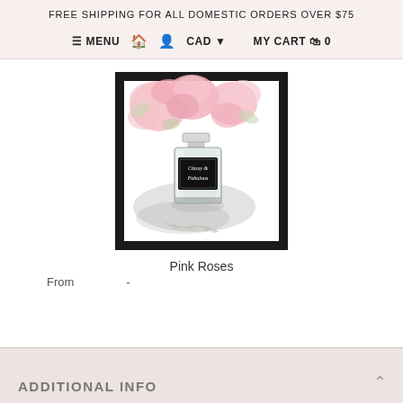FREE SHIPPING FOR ALL DOMESTIC ORDERS OVER $75
≡ MENU  🏠  👤  CAD ▾  MY CART 🛍 0
[Figure (illustration): Framed illustration of a perfume bottle labelled 'Classy & Fabulous' surrounded by pink roses, with grey watercolor background and pearl/bead details]
Pink Roses
From  -
ADDITIONAL INFO